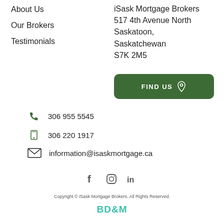About Us
Our Brokers
Testimonials
iSask Mortgage Brokers
517 4th Avenue North
Saskatoon,
Saskatchewan
S7K 2M5
[Figure (other): Green button with text FIND US and a map pin icon]
306 955 5545
306 220 1917
information@isaskmortgage.ca
[Figure (other): Social media icons: Facebook, Instagram, LinkedIn]
Copyright © iSask Mortgage Brokers. All Rights Reserved.
[Figure (logo): BD&M logo in teal/green color]